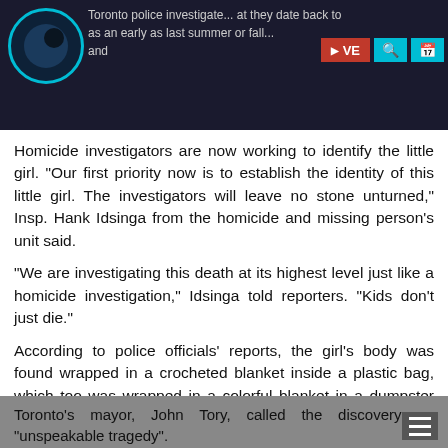Toronto police investigate... an early as last summer or fall... [LIVE] [Search] [Calendar]
Homicide investigators are now working to identify the little girl. "Our first priority now is to establish the identity of this little girl. The investigators will leave no stone unturned," Insp. Hank Idsinga from the homicide and missing person's unit said.
"We are investigating this death at its highest level just like a homicide investigation," Idsinga told reporters. "Kids don't just die."
According to police officials' reports, the girl's body was found wrapped in a crocheted blanket inside a plastic bag, which too was wrapped in a colorful blanket in a dumpster used at a construction site of a vacant home in Rosedale, one of the city's most affluent neighborhoods.
Toronto's mayor, John Tory, called the discovery an "unspeakable tragedy".